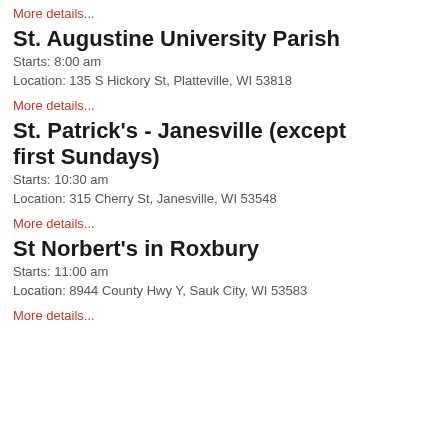More details...
St. Augustine University Parish
Starts: 8:00 am
Location: 135 S Hickory St, Platteville, WI 53818
More details...
St. Patrick's - Janesville (except first Sundays)
Starts: 10:30 am
Location: 315 Cherry St, Janesville, WI 53548
More details...
St Norbert's in Roxbury
Starts: 11:00 am
Location: 8944 County Hwy Y, Sauk City, WI 53583
More details...